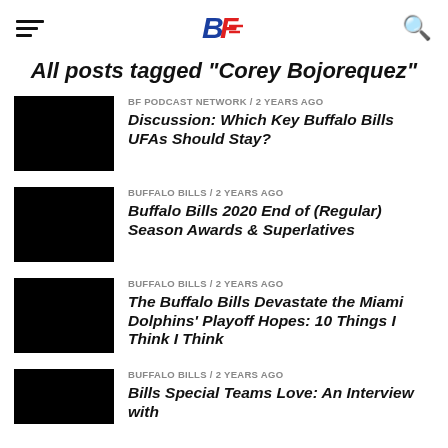BF (logo) | hamburger menu | search icon
All posts tagged "Corey Bojorequez"
[Figure (photo): Black thumbnail image for article 1]
BF PODCAST NETWORK / 2 years ago
Discussion: Which Key Buffalo Bills UFAs Should Stay?
[Figure (photo): Black thumbnail image for article 2]
BUFFALO BILLS / 2 years ago
Buffalo Bills 2020 End of (Regular) Season Awards & Superlatives
[Figure (photo): Black thumbnail image for article 3]
BUFFALO BILLS / 2 years ago
The Buffalo Bills Devastate the Miami Dolphins' Playoff Hopes: 10 Things I Think I Think
[Figure (photo): Black thumbnail image for article 4]
BUFFALO BILLS / 2 years ago
Bills Special Teams Love: An Interview with